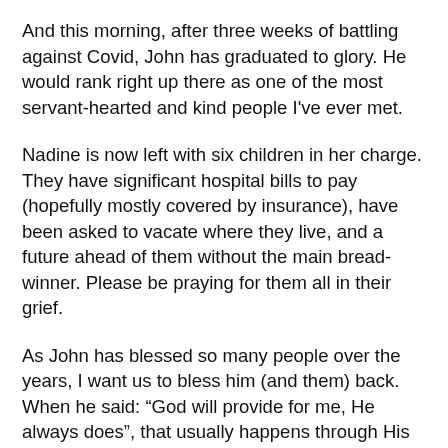And this morning, after three weeks of battling against Covid, John has graduated to glory. He would rank right up there as one of the most servant-hearted and kind people I've ever met.
Nadine is now left with six children in her charge. They have significant hospital bills to pay (hopefully mostly covered by insurance), have been asked to vacate where they live, and a future ahead of them without the main bread-winner. Please be praying for them all in their grief.
As John has blessed so many people over the years, I want us to bless him (and them) back. When he said: “God will provide for me, He always does”, that usually happens through His people.
So I invite you to be a part of his story and testimony. It’d be wonderful if we could raise enough to help Nadine own a family home, have funds to get all the